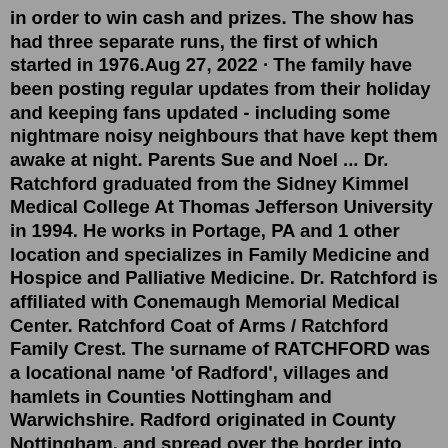in order to win cash and prizes. The show has had three separate runs, the first of which started in 1976.Aug 27, 2022 · The family have been posting regular updates from their holiday and keeping fans updated - including some nightmare noisy neighbours that have kept them awake at night. Parents Sue and Noel ... Dr. Ratchford graduated from the Sidney Kimmel Medical College At Thomas Jefferson University in 1994. He works in Portage, PA and 1 other location and specializes in Family Medicine and Hospice and Palliative Medicine. Dr. Ratchford is affiliated with Conemaugh Memorial Medical Center. Ratchford Coat of Arms / Ratchford Family Crest. The surname of RATCHFORD was a locational name 'of Radford', villages and hamlets in Counties Nottingham and Warwichshire. Radford originated in County Nottingham, and spread over the border into Derbyshire and hence to Cheshire and Lancashire. Local surnames, by far the largest group, derived ... Dr. Ratchford graduated from the Sidney Kimmel Medical College At Thomas Jefferson University in